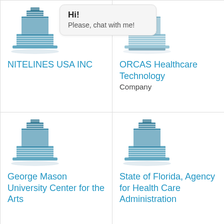[Figure (screenshot): Grid of four company cards, each with a building icon and company name. A chat bubble overlay says 'Hi! Please, chat with me!' in the top-right of the first cell.]
NITELINES USA INC
ORCAS Healthcare Technology
Company
George Mason University Center for the Arts
State of Florida, Agency for Health Care Administration